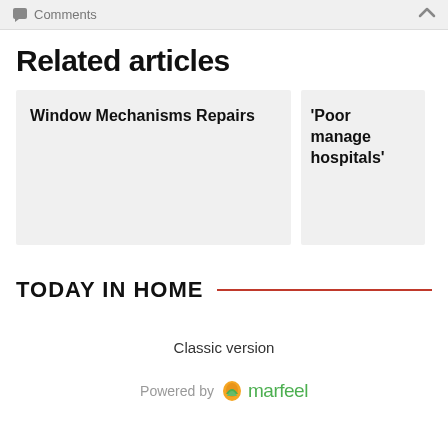Comments
Related articles
Window Mechanisms Repairs
'Poor manage hospitals'
TODAY IN HOME
Classic version
Powered by marfeel